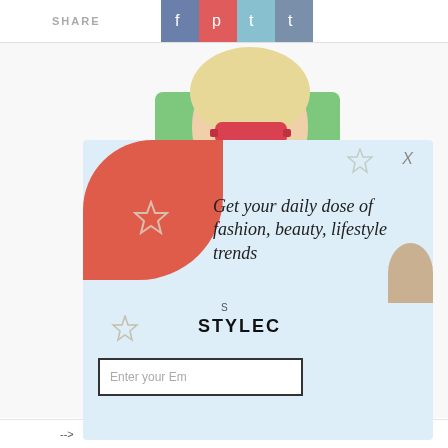SHARE
[Figure (screenshot): Social share buttons: Facebook (blue), Pinterest (red), Twitter (light blue), Tumblr (slate blue)]
[Figure (photo): Fashion photo: woman wearing red sunglasses and green jacket, lower body showing blue jeans]
[Figure (screenshot): Newsletter signup popup overlay with light blue background and red corner decoration. Text: 'Get your daily dose of fashion, beauty, lifestyle trends'. Shows STYLE brand name and email input field with placeholder 'Enter your Em...']
-->